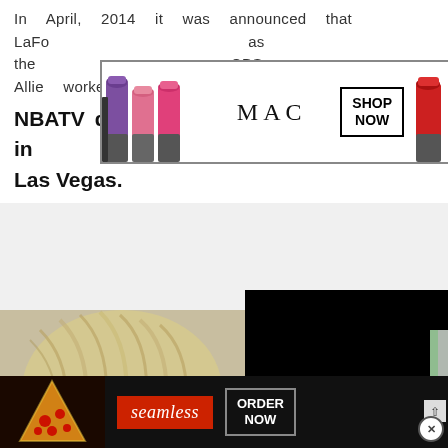In April, 2014 it was announced that LaFo... as the ... CBS. Allie worked as a sideline reporter for
[Figure (screenshot): MAC Cosmetics advertisement overlay showing lipsticks, MAC logo, and SHOP NOW button]
NBATV during the NBA Summer League in Las Vegas.
[Figure (photo): Partial photo of a blonde person's head/hair, partially obscured by a black video player overlay]
[Figure (screenshot): Black video player overlay with CLOSE button and orange block]
[Figure (screenshot): Seamless food delivery advertisement at the bottom showing pizza image, seamless logo in red, and ORDER NOW button]